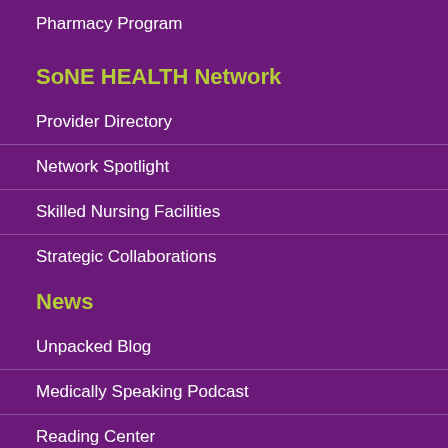Pharmacy Program
SoNE HEALTH Network
Provider Directory
Network Spotlight
Skilled Nursing Facilities
Strategic Collaborations
News
Unpacked Blog
Medically Speaking Podcast
Reading Center